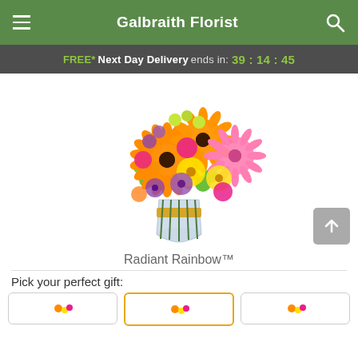Galbraith Florist
FREE* Next Day Delivery ends in: 39:14:45
[Figure (photo): A colorful mixed flower bouquet called Radiant Rainbow in a glass vase with a gold ribbon, featuring orange gerbera daisies, yellow daisies, pink carnations, purple flowers, and green accents.]
Radiant Rainbow™
Pick your perfect gift: